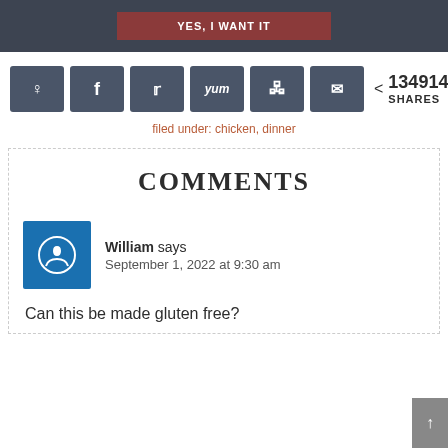[Figure (screenshot): Dark grey banner with a red button labeled YES, I WANT IT]
[Figure (infographic): Social share buttons row: Pinterest, Facebook, Twitter, Yum, Reddit, Email icons, plus share count of 1349146 SHARES]
filed under: chicken, dinner
COMMENTS
William says
September 1, 2022 at 9:30 am
Can this be made gluten free?